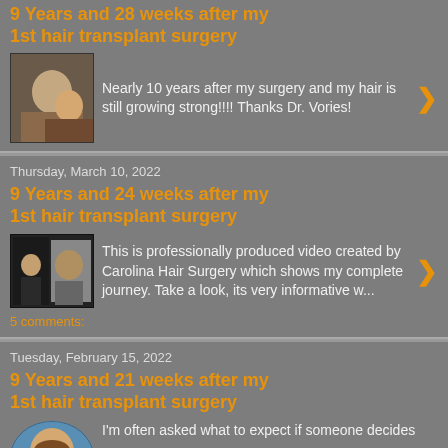9 Years and 28 weeks after my 1st hair transplant surgery
Nearly 10 years after my surgery and my hair is still growing strong!!!!  Thanks Dr. Vories!
Thursday, March 10, 2022
9 Years and 24 weeks after my 1st hair transplant surgery
This is professionally produced video created by Carolina Hair Surgery which shows my complete journey.  Take a look, its very informative w...
5 comments:
Tuesday, February 15, 2022
9 Years and 21 weeks after my 1st hair transplant surgery
I'm often asked what to expect if someone decides